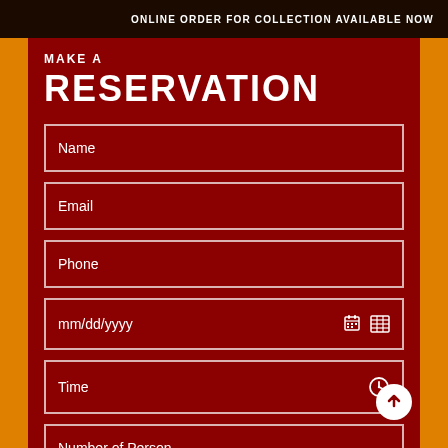ONLINE ORDER FOR COLLECTION AVAILABLE NOW
MAKE A
RESERVATION
Name
Email
Phone
mm/dd/yyyy
Time
Number of Person